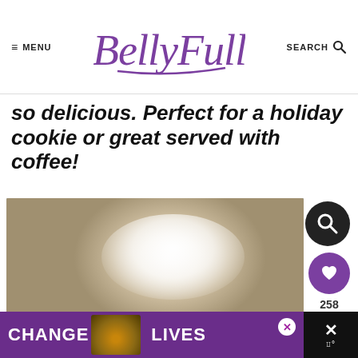MENU | BellyFull | SEARCH
so delicious. Perfect for a holiday cookie or great served with coffee!
[Figure (photo): Close-up photo of a powdered sugar-dusted cookie on a baking sheet, with powdered sugar scattered around it. A dark circular search icon, a purple heart icon showing 258, and a purple share icon are overlaid on the right side.]
[Figure (infographic): Purple advertisement banner at bottom reading CHANGE LIVES with cat photos, a close X button, and a dark panel on the right with an X and thermometer icon.]